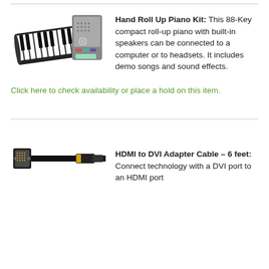[Figure (photo): Photo of a roll-up piano keyboard with a small control unit/speaker module attached]
Hand Roll Up Piano Kit: This 88-Key compact roll-up piano with built-in speakers can be connected to a computer or to headsets. It includes demo songs and sound effects.
Click here to check availability or place a hold on this item.
[Figure (photo): Photo of an HDMI to DVI adapter cable with gold connectors]
HDMI to DVI Adapter Cable – 6 feet: Connect technology with a DVI port to an HDMI port